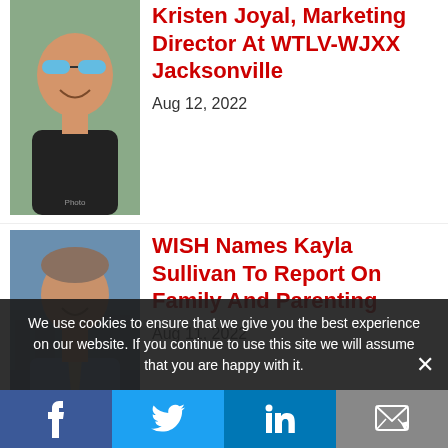Kristen Joyal, Marketing Director At WTLV-WJXX Jacksonville
Aug 12, 2022
WISH Names Kayla Sullivan To Report On Family And Parenting
Aug 11, 2022
We use cookies to ensure that we give you the best experience on our website. If you continue to use this site we will assume that you are happy with it.
[Figure (infographic): Social media share bar with Facebook, Twitter, LinkedIn, and email icons]